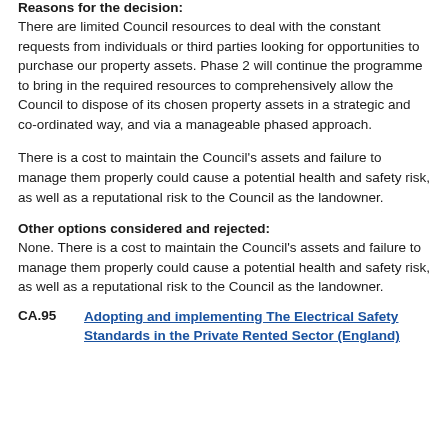Reasons for the decision:
There are limited Council resources to deal with the constant requests from individuals or third parties looking for opportunities to purchase our property assets. Phase 2 will continue the programme to bring in the required resources to comprehensively allow the Council to dispose of its chosen property assets in a strategic and co-ordinated way, and via a manageable phased approach.
There is a cost to maintain the Council's assets and failure to manage them properly could cause a potential health and safety risk, as well as a reputational risk to the Council as the landowner.
Other options considered and rejected:
None. There is a cost to maintain the Council's assets and failure to manage them properly could cause a potential health and safety risk, as well as a reputational risk to the Council as the landowner.
CA.95
Adopting and implementing The Electrical Safety Standards in the Private Rented Sector (England)